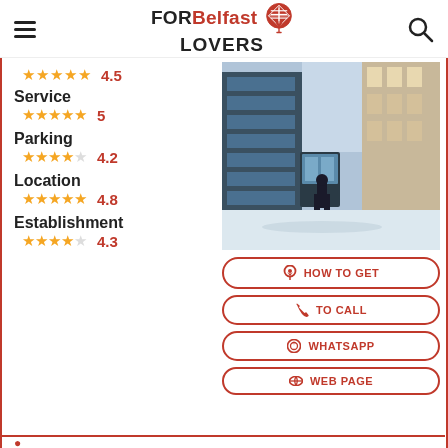FOR Belfast LOVERS
4.5 (stars shown, top row)
Service
5
Parking
4.2
Location
4.8
Establishment
4.3
[Figure (photo): Street photo of a Belfast location in winter, with snow on the ground and buildings on either side. A person walks along the street.]
HOW TO GET
TO CALL
WHATSAPP
WEB PAGE